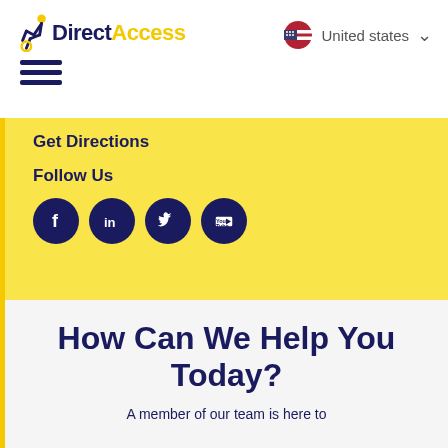[Figure (logo): Direct Access logo with wheelchair icon, 'Direct' in dark navy bold and 'Access' in yellow bold]
[Figure (other): Hamburger menu icon (three horizontal dark navy lines)]
[Figure (other): US flag icon with 'United states' text and chevron dropdown]
Get Directions
Follow Us
[Figure (other): Social media icons: Facebook, LinkedIn, Twitter, YouTube — all in black circles]
How Can We Help You Today?